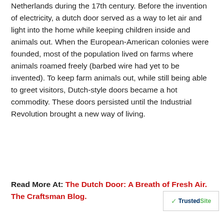Netherlands during the 17th century. Before the invention of electricity, a dutch door served as a way to let air and light into the home while keeping children inside and animals out. When the European-American colonies were founded, most of the population lived on farms where animals roamed freely (barbed wire had yet to be invented). To keep farm animals out, while still being able to greet visitors, Dutch-style doors became a hot commodity. These doors persisted until the Industrial Revolution brought a new way of living.
Read More At: The Dutch Door: A Breath of Fresh Air. The Craftsman Blog.
[Figure (logo): TrustedSite badge with green checkmark]